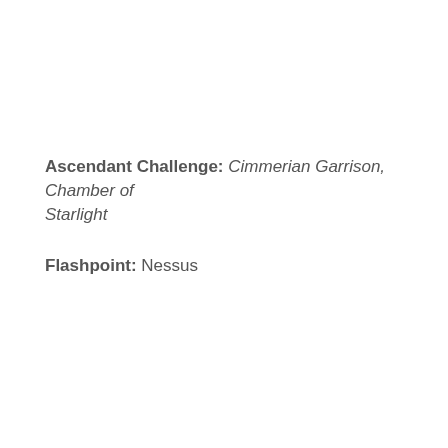Ascendant Challenge: Cimmerian Garrison, Chamber of Starlight
Flashpoint: Nessus